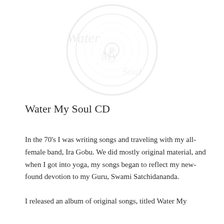[Figure (illustration): Faint watermark image of a CD or circular disc with decorative text 'Water My Soul' overlaid, very light gray, centered in the upper portion of the page]
Water My Soul CD
In the 70's I was writing songs and traveling with my all-female band, Ira Gobu. We did mostly original material, and when I got into yoga, my songs began to reflect my new-found devotion to my Guru, Swami Satchidananda.
I released an album of original songs, titled Water My